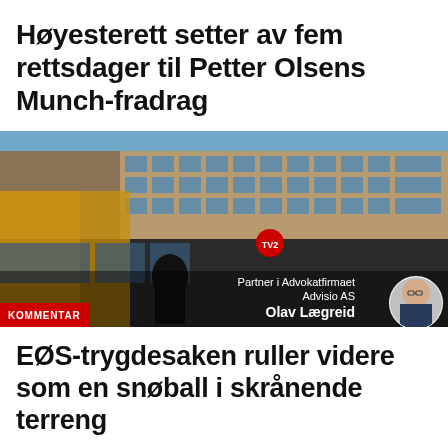Høyesterett setter av fem rettsdager til Petter Olsens Munch-fradrag
[Figure (photo): Photo of a man in a dark jacket walking in front of a large brick and glass office building. The image includes a KOMMENTAR (commentary) red label in the lower left, and an author byline with portrait photo: Partner i Advokatfirmaet Advisio AS, Olav Lægreid.]
EØS-trygdesaken ruller videre som en snøball i skrånende terreng